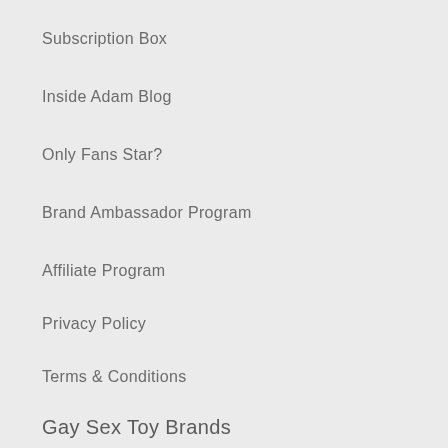Subscription Box
Inside Adam Blog
Only Fans Star?
Brand Ambassador Program
Affiliate Program
Privacy Policy
Terms & Conditions
Gay Sex Toy Brands